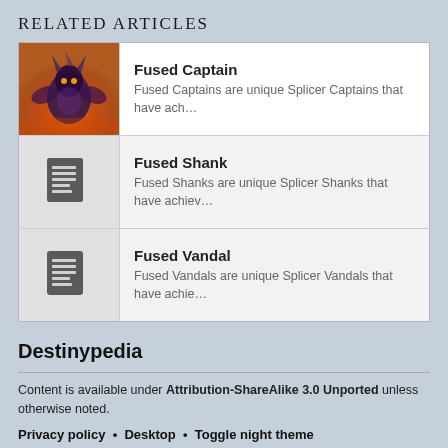RELATED ARTICLES
Fused Captain — Fused Captains are unique Splicer Captains that have ach…
Fused Shank — Fused Shanks are unique Splicer Shanks that have achiev…
Fused Vandal — Fused Vandals are unique Splicer Vandals that have achie…
Destinypedia
Content is available under Attribution-ShareAlike 3.0 Unported unless otherwise noted.
Privacy policy • Desktop • Toggle night theme